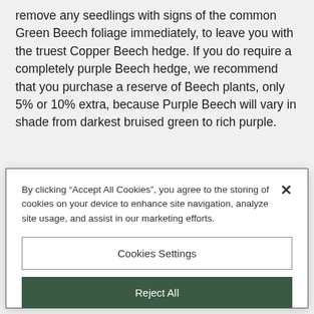remove any seedlings with signs of the common Green Beech foliage immediately, to leave you with the truest Copper Beech hedge. If you do require a completely purple Beech hedge, we recommend that you purchase a reserve of Beech plants, only 5% or 10% extra, because Purple Beech will vary in shade from darkest bruised green to rich purple.
With a reserve kept in their pots or provisionally planted in
By clicking “Accept All Cookies”, you agree to the storing of cookies on your device to enhance site navigation, analyze site usage, and assist in our marketing efforts.
Cookies Settings
Reject All
Accept All Cookies